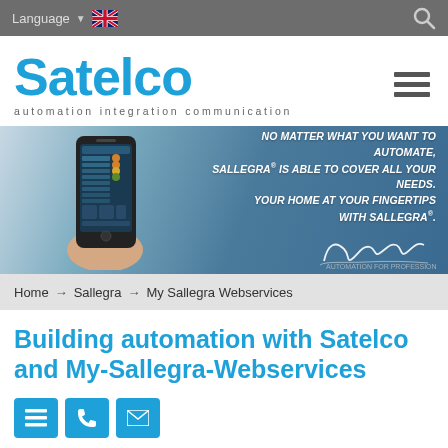Language ▼ [UK flag]
[Figure (logo): Satelco logo with tagline 'automation integration communication']
[Figure (photo): Banner image showing a hand holding a smartphone with the Sallegra app, overlaid with text: 'NO MATTER WHAT YOU WANT TO AUTOMATE, SALLEGRA® IS ABLE TO COVER ALL YOUR NEEDS. YOUR HOME AT YOUR FINGERTIPS WITH SALLEGRA®.' and a Sallegra signature logo.]
Home → Sallegra → My Sallegra Webservices
Building automation with Satelco and My-Sallegra-Webservices
[Figure (infographic): Three blue icon buttons: menu/list icon, phone icon, email/envelope icon]